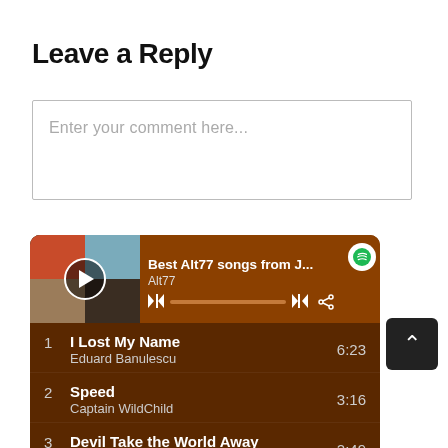Leave a Reply
Enter your comment here...
[Figure (screenshot): Spotify embedded playlist widget showing 'Best Alt77 songs from J...' by Alt77, with playback controls and a song list: 1. I Lost My Name - Eduard Banulescu 6:23, 2. Speed - Captain WildChild 3:16, 3. Devil Take the World Away - Bang Bang Jet Away 2:49]